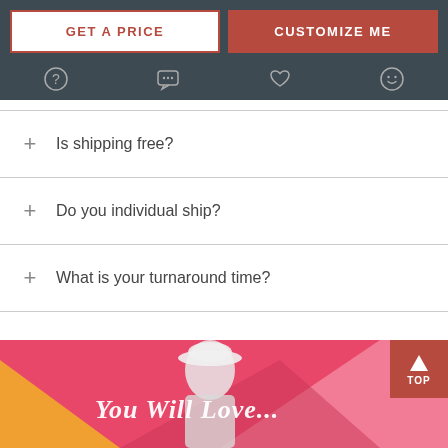GET A PRICE | CUSTOMIZE ME
+ Is shipping free?
+ Do you individual ship?
+ What is your turnaround time?
[Figure (photo): Woman in white hat and hoodie against colorful pink and orange mural wall, with script text 'You Will Love...' overlaid]
You Will Love...